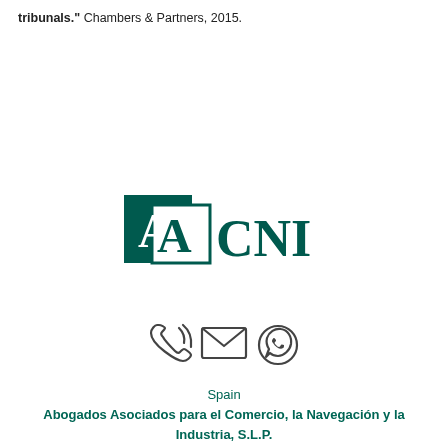tribunals." Chambers & Partners, 2015.
[Figure (logo): AACNI law firm logo: two overlapping squares (dark teal/green filled square with white 'A', white square with teal border and teal 'A') followed by bold teal text 'CNI']
[Figure (other): Three contact icons: phone/call icon, envelope/email icon, WhatsApp icon — all in dark gray/charcoal]
Spain
Abogados Asociados para el Comercio, la Navegación y la Industria, S.L.P.
Via Augusta 143, 08021 Barcelona
Tel. +34 934146668 Fax. +34 934146558